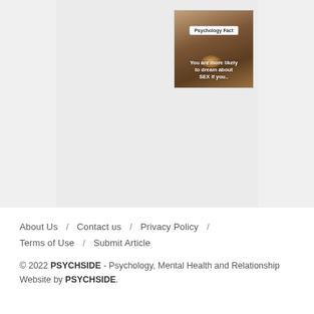[Figure (photo): A thumbnail image with a warm brown room background showing a lamp glow. A white badge reads 'Psychology Fact' and text overlay reads 'You are more likely to dream about SEX if you..']
About Us / Contact us / Privacy Policy / Terms of Use / Submit Article
© 2022 PSYCHSIDE - Psychology, Mental Health and Relationship Website by PSYCHSIDE.